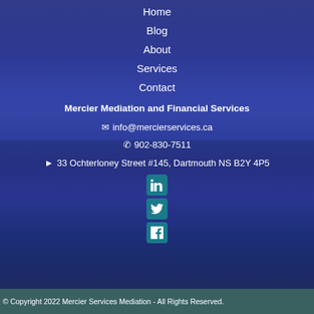Home
Blog
About
Services
Contact
Mercier Mediation and Financial Services
✉ info@mercierservices.ca
✆ 902-830-7511
◀ 33 Ochterloney Street #145, Dartmouth NS B2Y 4P5
[Figure (logo): LinkedIn, Twitter, and Facebook social media icons stacked vertically]
© Copyright 2022 Mercier Services Mediation - All Rights Reserved.